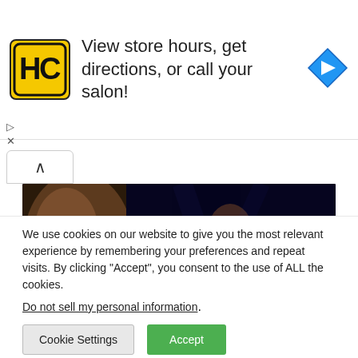[Figure (infographic): Advertisement banner with HC (Hair Club) yellow logo on left, text 'View store hours, get directions, or call your salon!' in center, and blue diamond navigation arrow icon on right. Play and close (X) icons in bottom-left corner.]
[Figure (photo): Boxing match photo showing a muscular Black boxer in the ring with 'BIG BI...' partially visible on his shorts, with another face close-up on the left side. Dark arena background with blue lighting.]
We use cookies on our website to give you the most relevant experience by remembering your preferences and repeat visits. By clicking “Accept”, you consent to the use of ALL the cookies.
Do not sell my personal information.
Cookie Settings
Accept